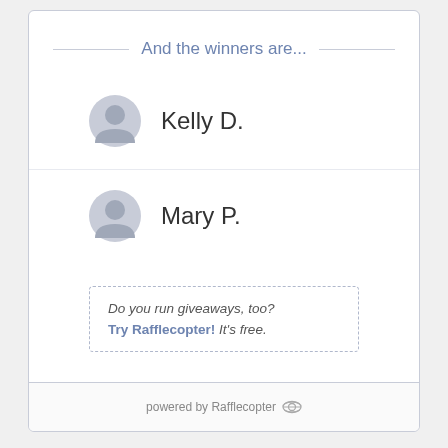And the winners are...
Kelly D.
Mary P.
Do you run giveaways, too? Try Rafflecopter! It's free.
powered by Rafflecopter